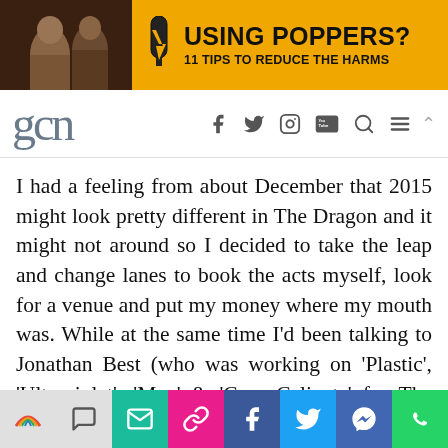[Figure (screenshot): Banner advertisement: orange background with two men on the left, lightning bolt bottle icon, text reading USING POPPERS? 11 TIPS TO REDUCE THE HARMS]
gcn
I had a feeling from about December that 2015 might look pretty different in The Dragon and it might not around so I decided to take the leap and change lanes to book the acts myself, look for a venue and put my money where my mouth was. While at the same time I’d been talking to Jonathan Best (who was working on ‘Plastic’, ‘Ultraviolet’, ‘Men’ & ‘Casa Caliente’ for The Dragon) about co-promoting something new in 2015 which is where
[Figure (screenshot): Bottom share/action toolbar with icons: rainbow (share), chat, email (teal), link (pink), Facebook (blue), Twitter (light blue), Messenger (blue), WhatsApp (green)]